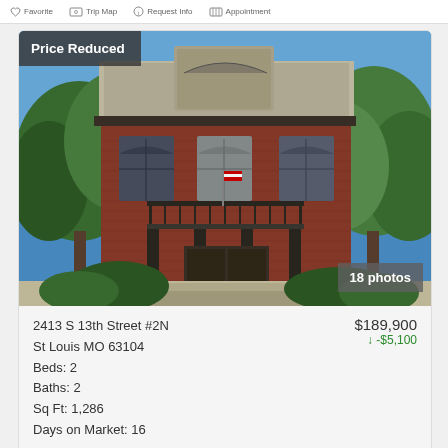[Figure (screenshot): Top navigation bar with Favorite, Trip Map, Request Info, and Appointment icons]
[Figure (photo): Exterior photo of a red brick Victorian-style multi-story building with balcony, surrounded by green trees, blue sky background. Badge 'Price Reduced' in top-left corner. Badge '18 photos' in bottom-right corner.]
2413 S 13th Street #2N
St Louis MO 63104
Beds: 2
Baths: 2
Sq Ft: 1,286
Days on Market: 16
$189,900
↓ -$5,100